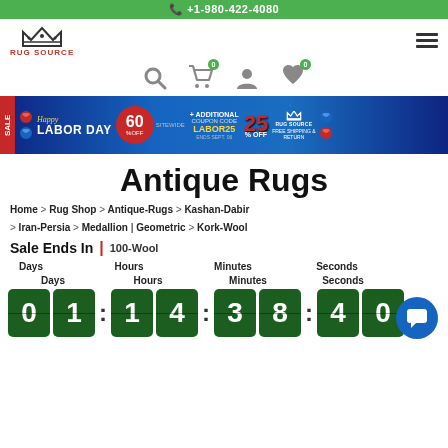+1-980-422-4080
[Figure (logo): Rug Source crown logo with text RUG SOURCE in red]
[Figure (screenshot): Navigation icons: search, cart (0), user, wishlist (0)]
[Figure (infographic): Happy Labor Day banner: 60% off sitewide + additional 25% off with coupon code LABOR25, ends Sept 06, free shipping and return]
Antique Rugs
Home > Rug Shop > Antique-Rugs > Kashan-Dabir > Iran-Persia > Medallion | Geometric > Kork-Wool
Sale Ends In | 100-Wool
Days: 01  Hours: 14  Minutes: 38  Seconds: 40